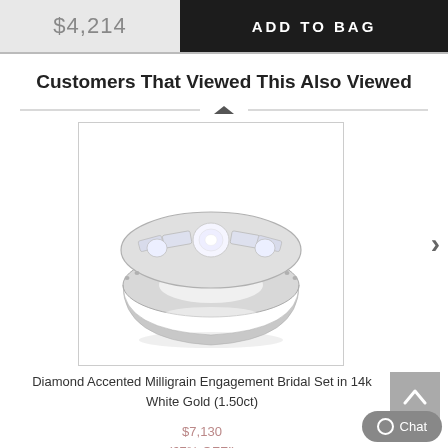$4,214
ADD TO BAG
Customers That Viewed This Also Viewed
[Figure (photo): Diamond Accented Milligrain Engagement Bridal Set ring in white gold with diamonds, shown from an angle on white background.]
Diamond Accented Milligrain Engagement Bridal Set in 14k White Gold (1.50ct)
$7,130
(67% OFF!)